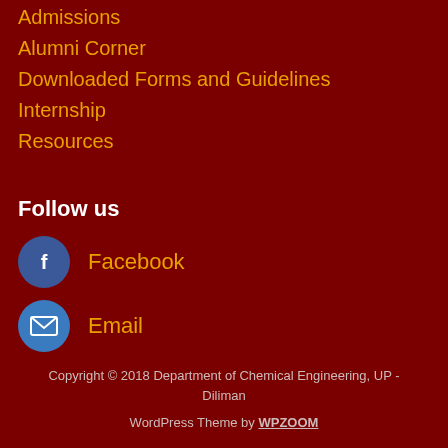Admissions
Alumni Corner
Downloaded Forms and Guidelines
Internship
Resources
Follow us
Facebook
Email
Copyright © 2018 Department of Chemical Engineering, UP - Diliman
WordPress Theme by WPZOOM